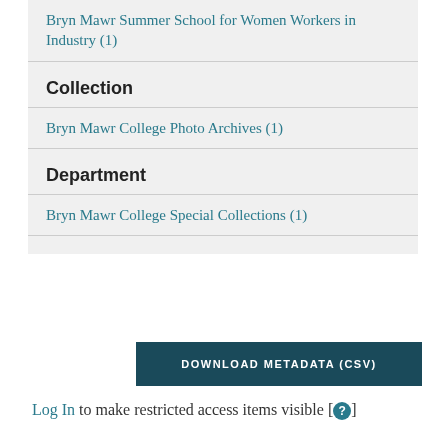Bryn Mawr Summer School for Women Workers in Industry (1)
Collection
Bryn Mawr College Photo Archives (1)
Department
Bryn Mawr College Special Collections (1)
DOWNLOAD METADATA (CSV)
Log In to make restricted access items visible [ ? ]